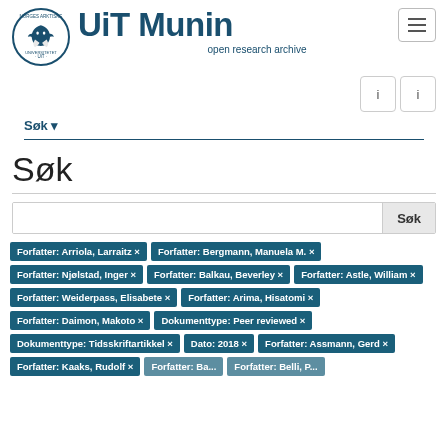[Figure (logo): UiT Norges Arktiske Universitet circular logo with eagle/bird emblem]
UiT Munin
open research archive
Søk ▾
Søk
Forfatter: Arriola, Larraitz ×
Forfatter: Bergmann, Manuela M. ×
Forfatter: Njølstad, Inger ×
Forfatter: Balkau, Beverley ×
Forfatter: Astle, William ×
Forfatter: Weiderpass, Elisabete ×
Forfatter: Arima, Hisatomi ×
Forfatter: Daimon, Makoto ×
Dokumenttype: Peer reviewed ×
Dokumenttype: Tidsskriftartikkel ×
Dato: 2018 ×
Forfatter: Assmann, Gerd ×
Forfatter: Kaaks, Rudolf ×